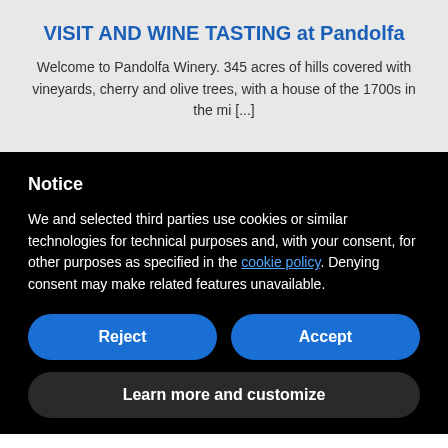VISIT AND WINE TASTING at Pandolfa
Welcome to Pandolfa Winery. 345 acres of hills covered with vineyards, cherry and olive trees, with a house of the 1700s in the mi [...]
Notice
We and selected third parties use cookies or similar technologies for technical purposes and, with your consent, for other purposes as specified in the cookie policy. Denying consent may make related features unavailable.
Reject
Accept
Learn more and customize